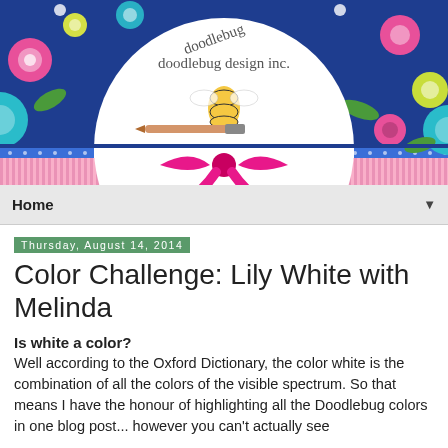[Figure (illustration): Doodlebug Design Inc. logo banner with colorful floral pattern on dark navy background, white semicircle with logo text and bee mascot, pink bow ribbon, and pink striped lower section]
Home
Thursday, August 14, 2014
Color Challenge: Lily White with Melinda
Is white a color?
Well according to the Oxford Dictionary, the color white is the combination of all the colors of the visible spectrum. So that means I have the honour of highlighting all the Doodlebug colors in one blog post... however you can't actually see